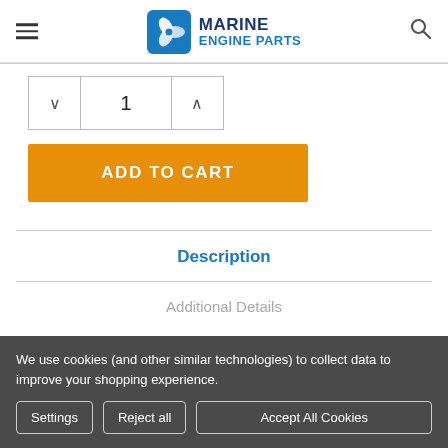Marine Engine Parts
[Figure (logo): Marine Engine Parts logo with propeller icon and blue text]
1
ADD TO CART
Description
Additional Details
We use cookies (and other similar technologies) to collect data to improve your shopping experience.
Settings
Reject all
Accept All Cookies